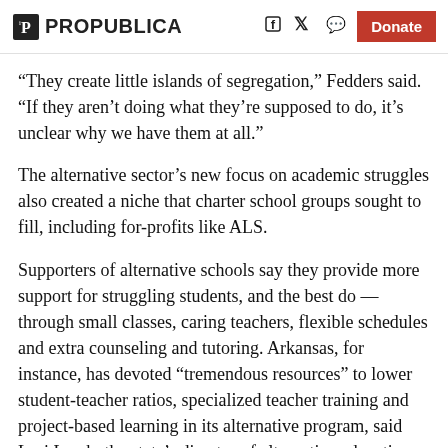ProPublica | Social icons | Donate
“They create little islands of segregation,” Fedders said. “If they aren’t doing what they’re supposed to do, it’s unclear why we have them at all.”
The alternative sector’s new focus on academic struggles also created a niche that charter school groups sought to fill, including for-profits like ALS.
Supporters of alternative schools say they provide more support for struggling students, and the best do — through small classes, caring teachers, flexible schedules and extra counseling and tutoring. Arkansas, for instance, has devoted “tremendous resources” to lower student-teacher ratios, specialized teacher training and project-based learning in its alternative program, said Lori Lamb, the state’s director of alternative education.